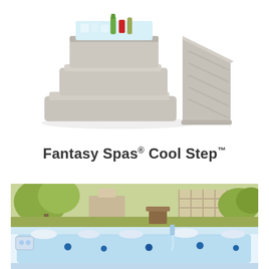[Figure (photo): Product photo of Fantasy Spas Cool Step — a grey plastic two-step stair unit with an integrated cooler/storage compartment on top holding ice and beverages, shown with an angled side panel]
Fantasy Spas® Cool Step™
[Figure (photo): Wide panoramic photo of a luxury swim spa / hot tub installed in a backyard garden setting, showing white interior seats with blue jets, water flowing from a spout, lush greenery and a pergola in the background]